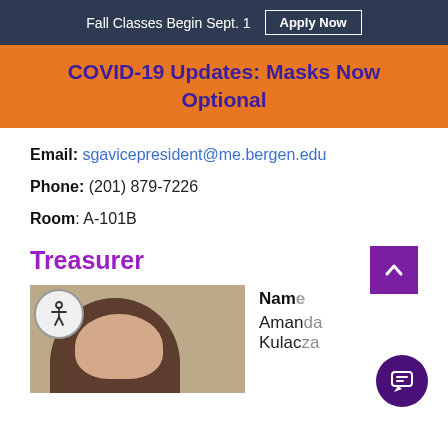Fall Classes Begin Sept. 1  Apply Now
COVID-19 Updates: Masks Now Optional
Email: sgavicepresident@me.bergen.edu
Phone: (201) 879-7226
Room: A-101B
Treasurer
[Figure (photo): Photo of Amanda Kulacza, Treasurer]
Name: Amanda Kulacza